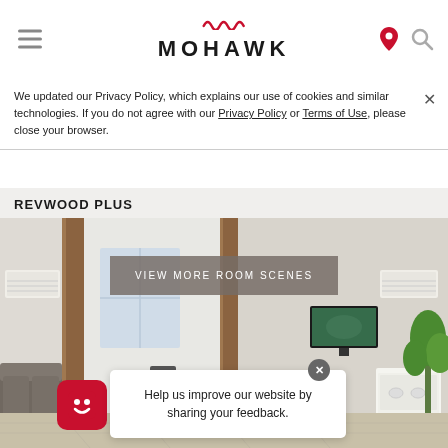MOHAWK (logo with navigation icons)
We updated our Privacy Policy, which explains our use of cookies and similar technologies. If you do not agree with our Privacy Policy or Terms of Use, please close your browser.
REVWOOD PLUS
[Figure (photo): Interior room scene showing a modern open-plan living space with light wood laminate flooring, a sofa on the left, wooden structural columns, a dining area in the center, a wall-mounted TV, a kitchen with white appliances on the right, and a tropical plant in the far right corner. A 'VIEW MORE ROOM SCENES' button overlays the image.]
VIEW MORE ROOM SCENES
Help us improve our website by sharing your feedback.